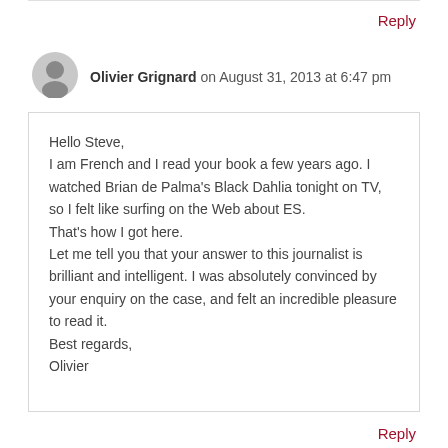Reply
Olivier Grignard on August 31, 2013 at 6:47 pm
Hello Steve,
I am French and I read your book a few years ago. I watched Brian de Palma's Black Dahlia tonight on TV, so I felt like surfing on the Web about ES.
That's how I got here.
Let me tell you that your answer to this journalist is brilliant and intelligent. I was absolutely convinced by your enquiry on the case, and felt an incredible pleasure to read it.
Best regards,
Olivier
Reply